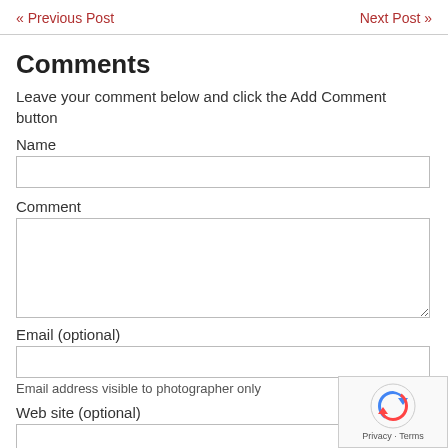« Previous Post    Next Post »
Comments
Leave your comment below and click the Add Comment button
Name
Comment
Email (optional)
Email address visible to photographer only
Web site (optional)